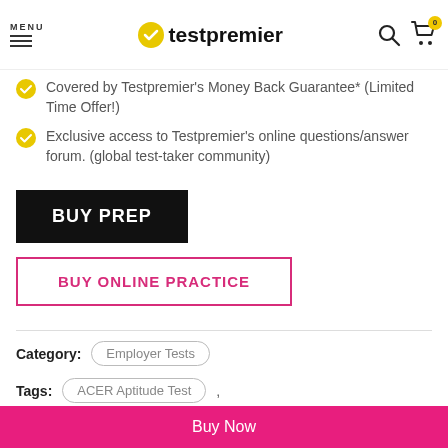MENU | testpremier | [search icon] [cart: 0]
Covered by Testpremier's Money Back Guarantee* (Limited Time Offer!)
Exclusive access to Testpremier's online questions/answer forum. (global test-taker community)
BUY PREP
BUY ONLINE PRACTICE
Category: Employer Tests
Tags: ACER Aptitude Test ,
Buy Now